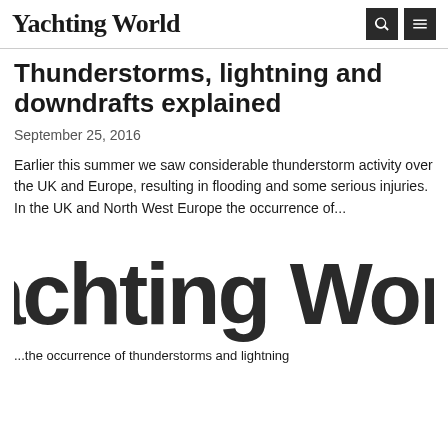Yachting World
Thunderstorms, lightning and downdrafts explained
September 25, 2016
Earlier this summer we saw considerable thunderstorm activity over the UK and Europe, resulting in flooding and some serious injuries. In the UK and North West Europe the occurrence of...
[Figure (logo): Large Yachting World logo in bold black text]
...